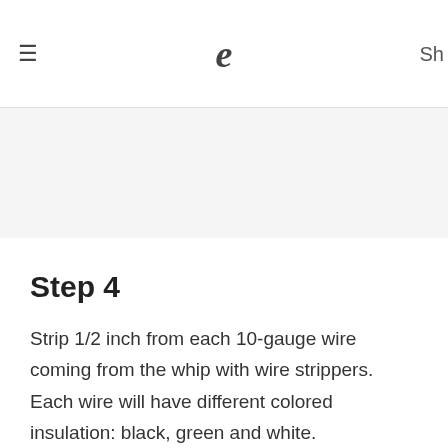≡  e  Sh
[Figure (other): Grey banner / image placeholder area]
Step 4
Strip 1/2 inch from each 10-gauge wire coming from the whip with wire strippers. Each wire will have different colored insulation: black, green and white.
Step 5
Push the whip's wires to the connection housing to secure i...